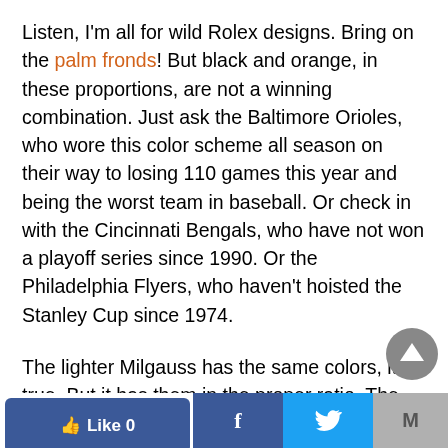Listen, I'm all for wild Rolex designs. Bring on the palm fronds! But black and orange, in these proportions, are not a winning combination. Just ask the Baltimore Orioles, who wore this color scheme all season on their way to losing 110 games this year and being the worst team in baseball. Or check in with the Cincinnati Bengals, who have not won a playoff series since 1990. Or the Philadelphia Flyers, who haven't hoisted the Stanley Cup since 1974.
The lighter Milgauss has the same colors, it's true. But it has them in the proper ratio. The neutral color dominates the canvas, with the brighter hue
Like 0 | Facebook | Twitter | Gmail